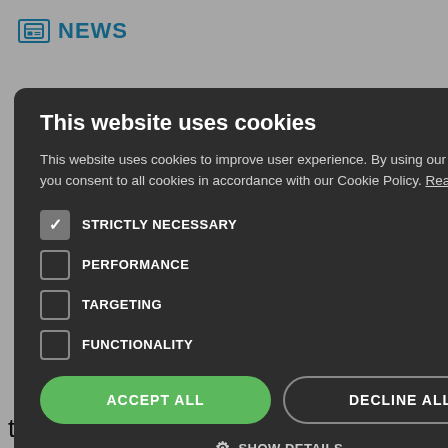NEWS
Global nant
[Figure (screenshot): Cookie consent modal overlay on a news website. Modal has dark background (#2d2d2d), title 'This website uses cookies', body text explaining cookie usage, four checkboxes (STRICTLY NECESSARY checked, PERFORMANCE unchecked, TARGETING unchecked, FUNCTIONALITY unchecked), two buttons (ACCEPT ALL in green, DECLINE ALL with outline), and a SHOW DETAILS link with gear icon. Close button (X) in top right.]
MZA have arket 0 remained une 2011 0 at a 0 growth and
the Below 100 Extensions market a